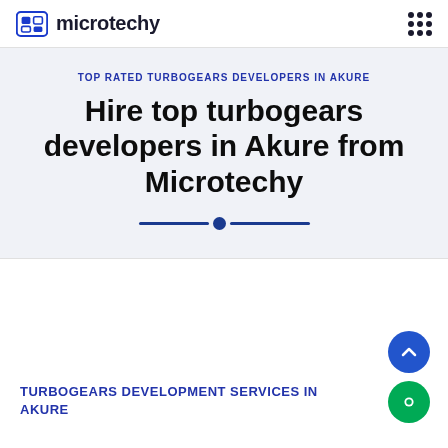microtechy
TOP RATED TURBOGEARS DEVELOPERS IN AKURE
Hire top turbogears developers in Akure from Microtechy
TURBOGEARS DEVELOPMENT SERVICES IN AKURE